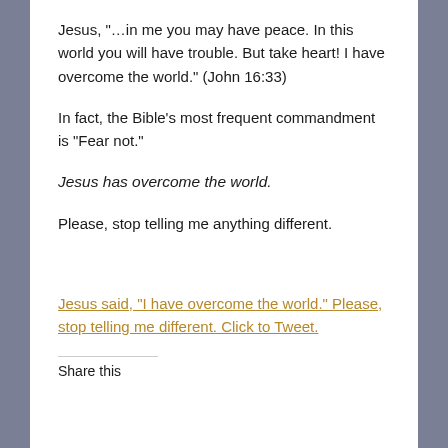Jesus, “…in me you may have peace. In this world you will have trouble. But take heart! I have overcome the world.” (John 16:33)
In fact, the Bible’s most frequent commandment is “Fear not.”
Jesus has overcome the world.
Please, stop telling me anything different.
Jesus said, “I have overcome the world.” Please, stop telling me different. Click to Tweet.
Share this